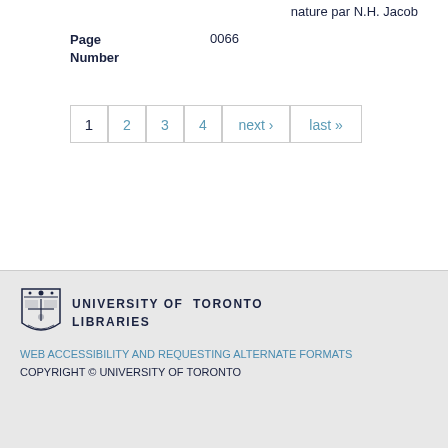nature par N.H. Jacob
| Page Number | 0066 |
1
2
3
4
next ›
last »
UNIVERSITY OF TORONTO LIBRARIES
WEB ACCESSIBILITY AND REQUESTING ALTERNATE FORMATS
COPYRIGHT © UNIVERSITY OF TORONTO